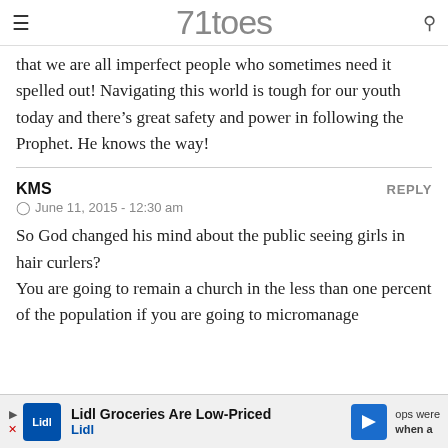71toes
that we are all imperfect people who sometimes need it spelled out! Navigating this world is tough for our youth today and there's great safety and power in following the Prophet. He knows the way!
KMS
REPLY
June 11, 2015 - 12:30 am
So God changed his mind about the public seeing girls in hair curlers?
You are going to remain a church in the less than one percent of the population if you are going to micromanage
[Figure (screenshot): Lidl advertisement banner at bottom: 'Lidl Groceries Are Low-Priced' with Lidl logo and navigation arrow icon]